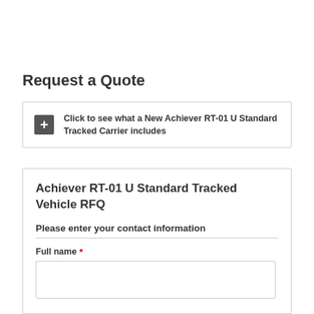Request a Quote
Click to see what a New Achiever RT-01 U Standard Tracked Carrier includes
Achiever RT-01 U Standard Tracked Vehicle RFQ
Please enter your contact information
Full name *